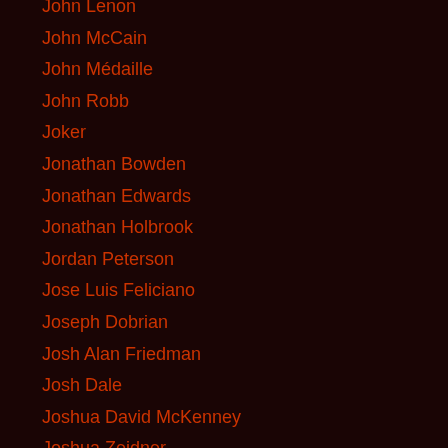John Lenon
John McCain
John Médaille
John Robb
Joker
Jonathan Bowden
Jonathan Edwards
Jonathan Holbrook
Jordan Peterson
Jose Luis Feliciano
Joseph Dobrian
Josh Alan Friedman
Josh Dale
Joshua David McKenney
Joshua Zeidner